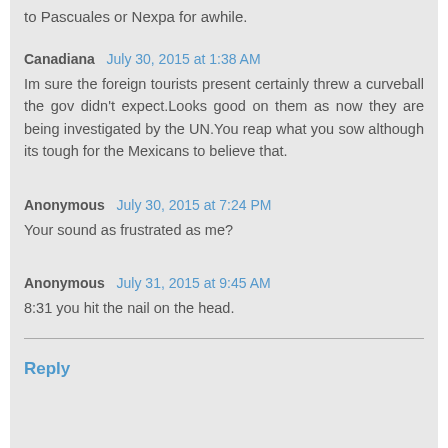to Pascuales or Nexpa for awhile.
Canadiana  July 30, 2015 at 1:38 AM
Im sure the foreign tourists present certainly threw a curveball the gov didn't expect.Looks good on them as now they are being investigated by the UN.You reap what you sow although its tough for the Mexicans to believe that.
Anonymous  July 30, 2015 at 7:24 PM
Your sound as frustrated as me?
Anonymous  July 31, 2015 at 9:45 AM
8:31 you hit the nail on the head.
Reply